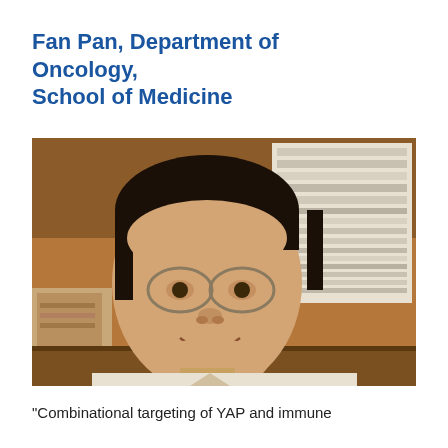Fan Pan, Department of Oncology, School of Medicine
[Figure (photo): Portrait photo of Fan Pan, an Asian man with glasses, dark hair, smiling, in front of a bookshelf stacked with papers and files.]
“Combinational targeting of YAP and immune